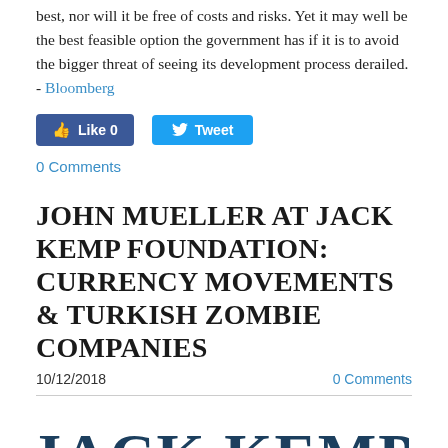best, nor will it be free of costs and risks. Yet it may well be the best feasible option the government has if it is to avoid the bigger threat of seeing its development process derailed. - Bloomberg
[Figure (screenshot): Social media buttons: Facebook Like (0) and Twitter Tweet buttons]
0 Comments
JOHN MUELLER AT JACK KEMP FOUNDATION:  CURRENCY MOVEMENTS & TURKISH ZOMBIE COMPANIES
10/12/2018    0 Comments
[Figure (logo): Jack Kemp Foundation logo with large serif text 'JACK KEMP' above 'FOUNDATION' in spaced capitals]